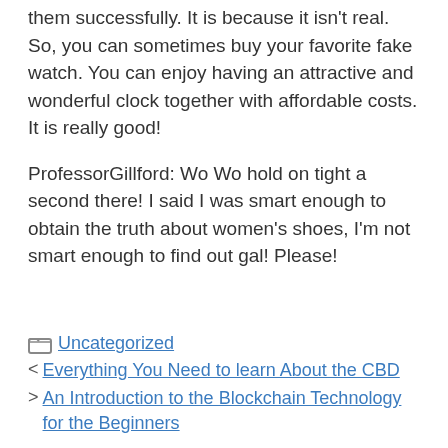them successfully. It is because it isn't real. So, you can sometimes buy your favorite fake watch. You can enjoy having an attractive and wonderful clock together with affordable costs. It is really good!
ProfessorGillford: Wo Wo hold on tight a second there! I said I was smart enough to obtain the truth about women's shoes, I'm not smart enough to find out gal! Please!
Uncategorized
Everything You Need to learn About the CBD
An Introduction to the Blockchain Technology for the Beginners